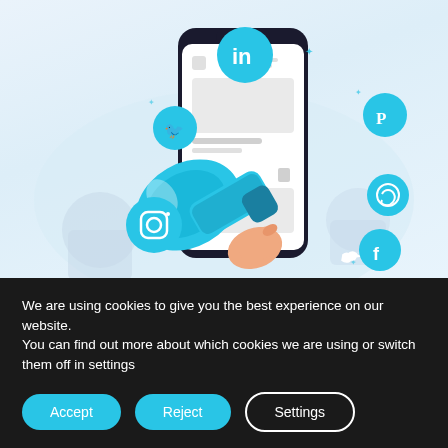[Figure (illustration): Social media marketing illustration showing a smartphone with a social media feed, a hand holding a blue megaphone/bullhorn coming out of the phone screen, surrounded by floating social media icons (LinkedIn, Twitter, Pinterest, Instagram, WhatsApp, Facebook) on a light blue gradient background.]
We are using cookies to give you the best experience on our website.
You can find out more about which cookies we are using or switch them off in settings